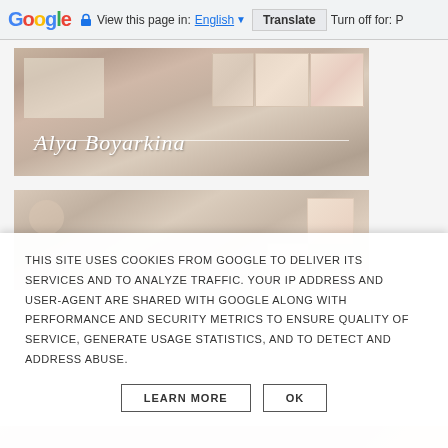Google  View this page in: English  Translate  Turn off for: P
[Figure (photo): Photo of lace and floral fabric pieces arranged on a white wooden surface with music sheet paper and cotton flowers, overlaid with cursive script text 'Alya Boyarkina']
[Figure (photo): Second photo of similar lace and floral fabric pieces on white wooden surface with cotton flowers]
THIS SITE USES COOKIES FROM GOOGLE TO DELIVER ITS SERVICES AND TO ANALYZE TRAFFIC. YOUR IP ADDRESS AND USER-AGENT ARE SHARED WITH GOOGLE ALONG WITH PERFORMANCE AND SECURITY METRICS TO ENSURE QUALITY OF SERVICE, GENERATE USAGE STATISTICS, AND TO DETECT AND ADDRESS ABUSE.
LEARN MORE   OK
[Figure (photo): Partial photo strip at bottom showing similar crafts/fabric items]